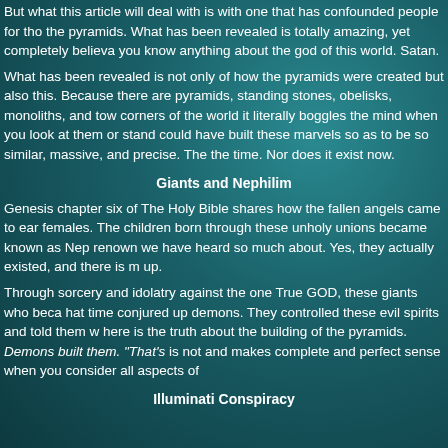But what this article will deal with is with one that has confounded people for the pyramids. What has been revealed is totally amazing, yet completely believable if you know anything about the god of this world. Satan.
What has been revealed is not only of how the pyramids were created but also this. Because there are pyramids, standing stones, obelisks, monoliths, and towers corners of the world it literally boggles the mind when you look at them or stand could have built these marvels so as to be so similar, massive, and precise. The the time. Nor does it exist now.
Giants and Nephilim
Genesis chapter six of The Holy Bible shares how the fallen angels came to earth females. The children born through these unholy unions became known as Nephilim renown we have heard so much about. Yes, they actually existed, and there is much up.
Through sorcery and idolatry against the one True GOD, these giants who became that time conjured up demons. They controlled these evil spirits and told them w here is the truth about the building of the pyramids. Demons built them. "That's is not and makes complete and perfect sense when you consider all aspects of
Illuminati Conspiracy